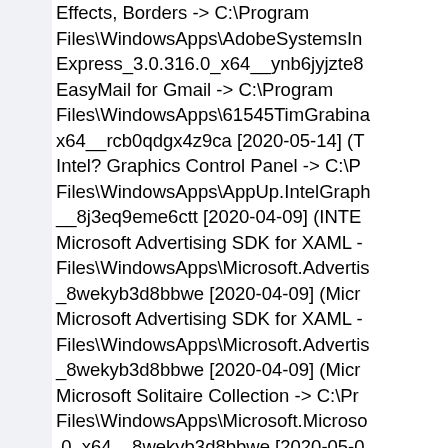Effects, Borders -> C:\Program Files\WindowsApps\AdobeSystemsIn Express_3.0.316.0_x64__ynb6jyjzte8 EasyMail for Gmail -> C:\Program Files\WindowsApps\61545TimGrabina x64__rcb0qdgx4z9ca [2020-05-14] (T Intel? Graphics Control Panel -> C:\P Files\WindowsApps\AppUp.IntelGraph __8j3eq9eme6ctt [2020-04-09] (INTE Microsoft Advertising SDK for XAML - Files\WindowsApps\Microsoft.Advertis _8wekyb3d8bbwe [2020-04-09] (Micr Microsoft Advertising SDK for XAML - Files\WindowsApps\Microsoft.Advertis _8wekyb3d8bbwe [2020-04-09] (Micr Microsoft Solitaire Collection -> C:\Pr Files\WindowsApps\Microsoft.Microso .0_x64__8wekyb3d8bbwe [2020-05-0 MSN Weather -> C:\Program Files\WindowsApps\Microsoft.BingWe wekyb3d8bbwe [2020-04-09] (Microso Music Maker Jam -> C:\Program Files\WindowsApps\MAGIX.MusicMak z9j1jw [2020-05-04] (MAGIX) Photo Editor- -> C:\Program Files\WindowsApps\10414Kingloft.Ph _1.1.11.0_x64__hwg4vmr4pnwdp [20 =================== Custom Ch =============